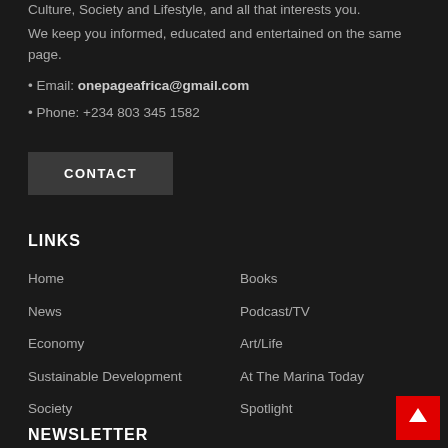Culture, Society and Lifestyle, and all that interests you.
We keep you informed, educated and entertained on the same page.
• Email: onepageafrica@gmail.com
• Phone: +234 803 345 1582
CONTACT
LINKS
Home
News
Economy
Sustainable Development
Society
Books
Podcast/TV
Art/Life
At The Marina Today
Spotlight
NEWSLETTER